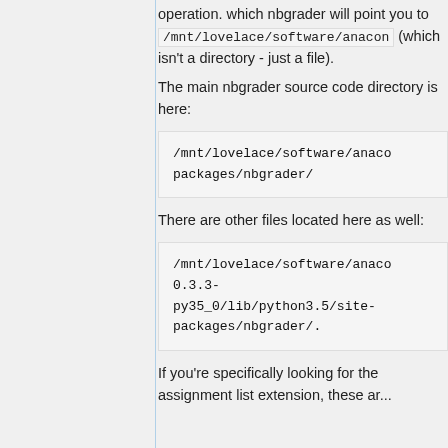operation. which nbgrader will point you to /mnt/lovelace/software/anacon (which isn't a directory - just a file).
The main nbgrader source code directory is here:
/mnt/lovelace/software/anaco packages/nbgrader/
There are other files located here as well:
/mnt/lovelace/software/anaco 0.3.3-py35_0/lib/python3.5/site-packages/nbgrader/.
If you're specifically looking for the assignment list extension, these are...